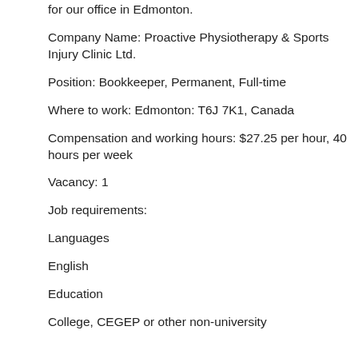for our office in Edmonton.
Company Name: Proactive Physiotherapy & Sports Injury Clinic Ltd.
Position: Bookkeeper, Permanent, Full-time
Where to work: Edmonton: T6J 7K1, Canada
Compensation and working hours: $27.25 per hour, 40 hours per week
Vacancy: 1
Job requirements:
Languages
English
Education
College, CEGEP or other non-university